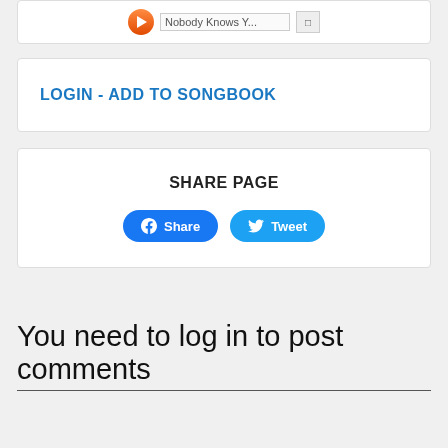[Figure (screenshot): Partial music player widget showing an orange play button, track title 'Nobody Knows Y...' and a small square icon]
LOGIN - ADD TO SONGBOOK
SHARE PAGE
[Figure (screenshot): Share buttons: blue Facebook Share button and blue Twitter Tweet button]
You need to log in to post comments